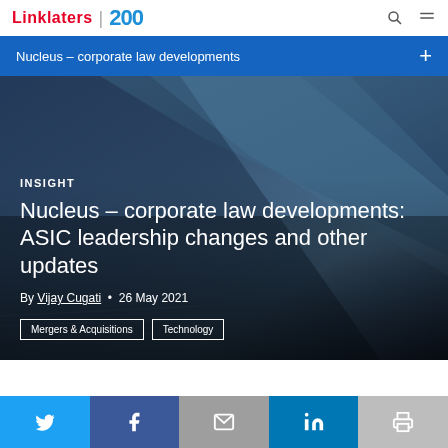Linklaters | 200
Nucleus – corporate law developments
[Figure (photo): Dark blue aerial/architectural photo showing angular panels or geometric structures, used as hero background image]
INSIGHT
Nucleus – corporate law developments: ASIC leadership changes and other updates
By Vijay Cugati • 26 May 2021
Mergers & Acquisitions
Technology